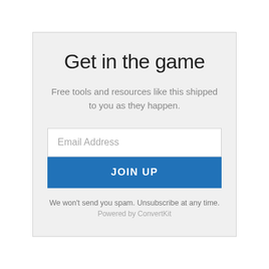Get in the game
Free tools and resources like this shipped to you as they happen.
[Figure (screenshot): Email address input field with placeholder text 'Email Address']
[Figure (screenshot): Blue button labeled 'JOIN UP']
We won't send you spam. Unsubscribe at any time.
Powered by ConvertKit